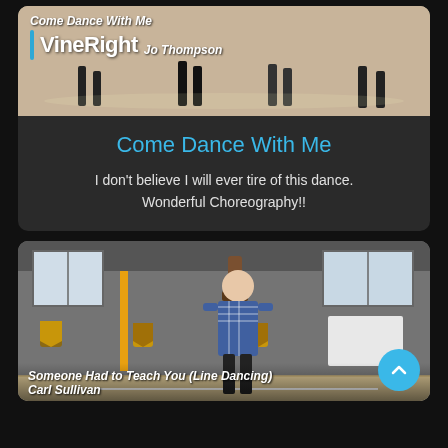[Figure (screenshot): Video thumbnail for 'Come Dance With Me' showing dancers on a dance floor with 'VineRight' logo and 'Jo Thompson' label overlay]
Come Dance With Me
I don't believe I will ever tire of this dance. Wonderful Choreography!!
[Figure (screenshot): Video thumbnail for 'Someone Had to Teach You (Line Dancing)' by Carl Sullivan, showing a man in a plaid shirt in a gym/hall setting]
Someone Had to Teach You (Line Dancing)
Carl Sullivan